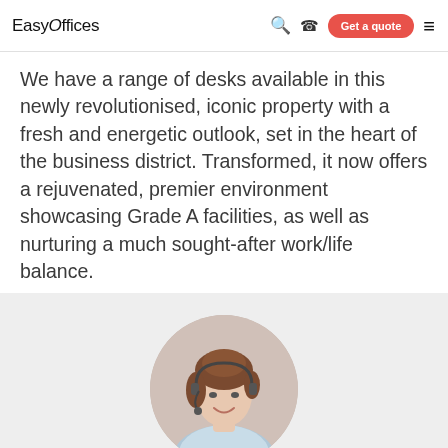EasyOffices — Get a quote
We have a range of desks available in this newly revolutionised, iconic property with a fresh and energetic outlook, set in the heart of the business district. Transformed, it now offers a rejuvenated, premier environment showcasing Grade A facilities, as well as nurturing a much sought-after work/life balance.
[Figure (photo): Circular portrait photo of a smiling woman with a headset, partially visible in the lower gray section of the page]